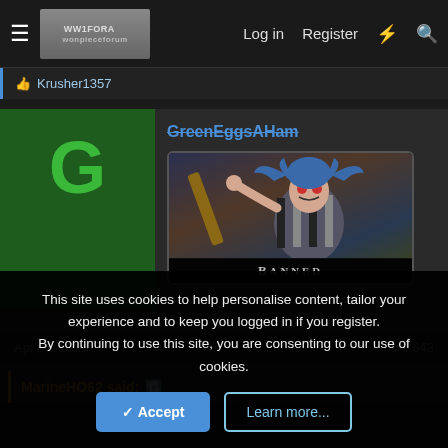Log in  Register
Krusher1357
[Figure (screenshot): Forum post by user GreenEggsAHam showing a 'BANNED' anime character badge image with blue-haired character holding a weapon.]
GreenEggsAHam — BANNED
Apr 22, 2021   #7,643
MarineHO62 said:
This site uses cookies to help personalise content, tailor your experience and to keep you logged in if you register.
By continuing to use this site, you are consenting to our use of cookies.
Accept  Learn more...